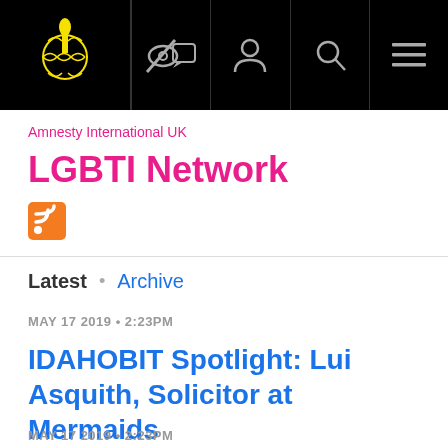[Figure (logo): Amnesty International logo (candle with barbed wire) in yellow on black background, navigation bar with icons for chat/speech, user profile, search, and menu]
Amnesty International UK
LGBTI Network
[Figure (other): RSS feed icon, orange square with white RSS symbol]
Latest · Archive
MAY 17 2019 · 2:23PM
IDAHOBIT Spotlight: Lui Asquith, Solicitor at Mermaids
MAY 17 2019 · 2:23PM